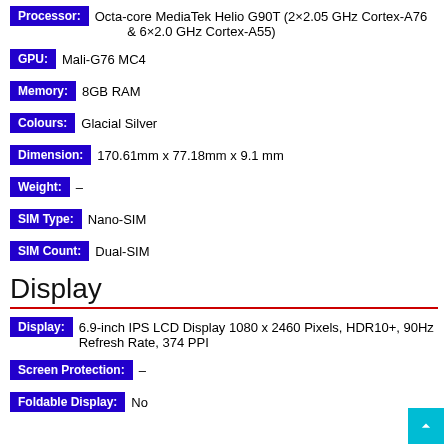Processor: Octa-core MediaTek Helio G90T (2×2.05 GHz Cortex-A76 & 6×2.0 GHz Cortex-A55)
GPU: Mali-G76 MC4
Memory: 8GB RAM
Colours: Glacial Silver
Dimension: 170.61mm x 77.18mm x 9.1 mm
Weight: –
SIM Type: Nano-SIM
SIM Count: Dual-SIM
Display
Display: 6.9-inch IPS LCD Display 1080 x 2460 Pixels, HDR10+, 90Hz Refresh Rate, 374 PPI
Screen Protection: –
Foldable Display: No